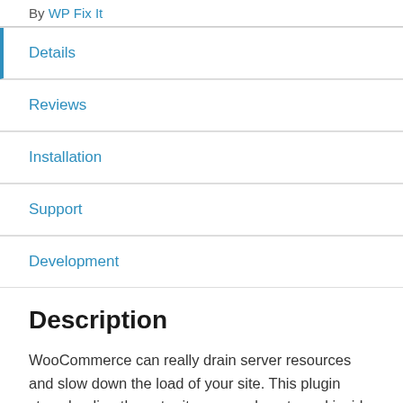By WP Fix It
Details
Reviews
Installation
Support
Development
Description
WooCommerce can really drain server resources and slow down the load of your site. This plugin stops loading the extra items you do not need inside WooCommerce and speeds up WordPress core admin-ajax.php file.